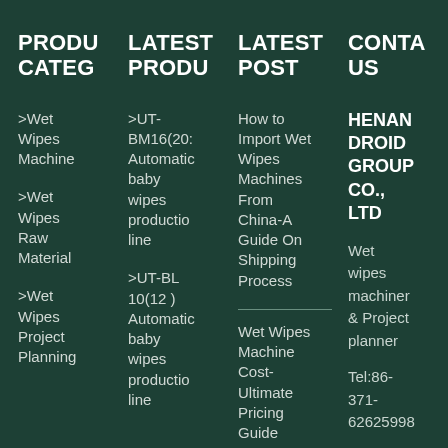PRODU CATEG
LATEST PRODU
LATEST POST
CONTA US
>Wet Wipes Machine
>UT-BM16(20… Automatic baby wipes production line
How to Import Wet Wipes Machines From China-A Guide On Shipping Process
HENAN DROID GROUP CO., LTD
>Wet Wipes Raw Material
Wet Wipes Machine Cost-Ultimate Pricing Guide
Wet wipes machinery & Project planner
>Wet Wipes Project Planning
>UT-BL 10(12 ) Automatic baby wipes production line
A Buying Guide for
Tel:86-371-62625998